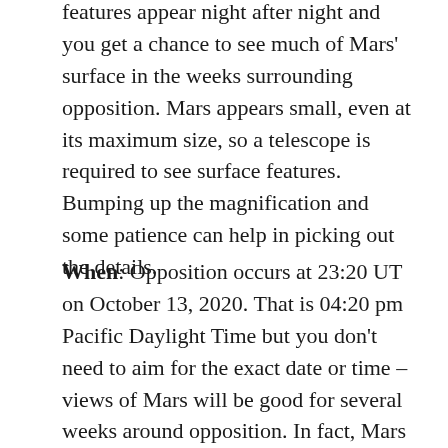features appear night after night and you get a chance to see much of Mars' surface in the weeks surrounding opposition. Mars appears small, even at its maximum size, so a telescope is required to see surface features. Bumping up the magnification and some patience can help in picking out the details.
When: Opposition occurs at 23:20 UT on October 13, 2020. That is 04:20 pm Pacific Daylight Time but you don't need to aim for the exact date or time – views of Mars will be good for several weeks around opposition. In fact, Mars makes its closest approach to Earth on Oct 6, 2020, a little bit earlier than the opposition date due to the elliptical (non-circular) shape of its orbit.